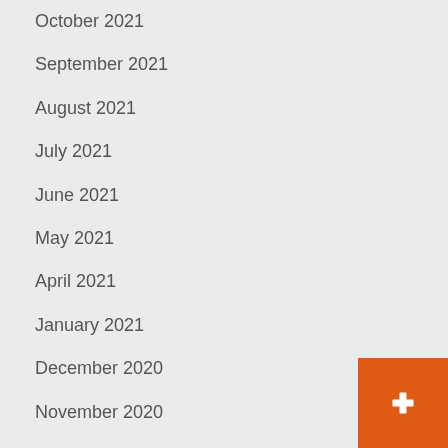October 2021
September 2021
August 2021
July 2021
June 2021
May 2021
April 2021
January 2021
December 2020
November 2020
July 2020
November 2019
May 2014